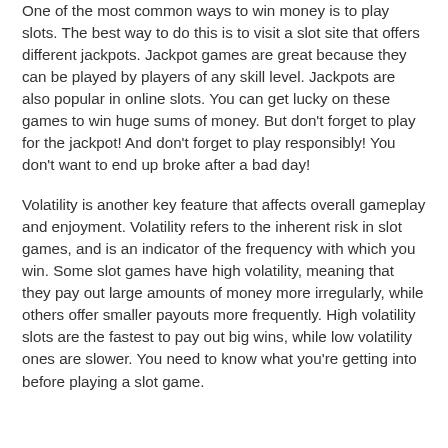One of the most common ways to win money is to play slots. The best way to do this is to visit a slot site that offers different jackpots. Jackpot games are great because they can be played by players of any skill level. Jackpots are also popular in online slots. You can get lucky on these games to win huge sums of money. But don't forget to play for the jackpot! And don't forget to play responsibly! You don't want to end up broke after a bad day!
Volatility is another key feature that affects overall gameplay and enjoyment. Volatility refers to the inherent risk in slot games, and is an indicator of the frequency with which you win. Some slot games have high volatility, meaning that they pay out large amounts of money more irregularly, while others offer smaller payouts more frequently. High volatility slots are the fastest to pay out big wins, while low volatility ones are slower. You need to know what you're getting into before playing a slot game.